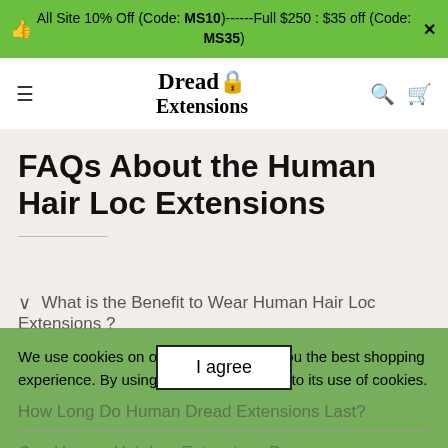All Site 10% Off (Code: MS10)------Full $250 : $35 off (Code: MS35)
[Figure (logo): Dread Extensions logo with dreadlock icon]
FAQs About the Human Hair Loc Extensions
What is the Benefit to Wear Human Hair Loc Extensions?
We use cookies on our website to give you the best shopping experience. By using this site, you agree to its use of cookies.
How Long Do Human Dread Extensions Last?
Can Human Hair Loc Extensions Be